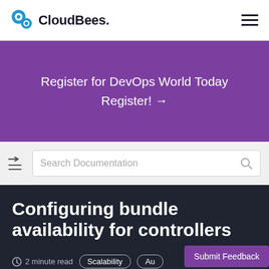CloudBees.
Register for DevOps World Today Register! →
[Figure (screenshot): Search Documentation input box with magnifying glass icon and a hamburger/arrow menu icon]
Configuring bundle availability for controllers
2 minute read  Scalability  Au...  Submit Feedback